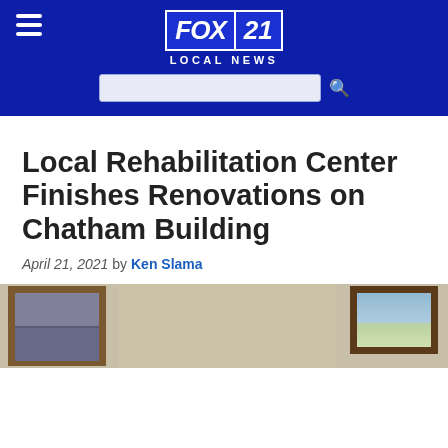FOX 21 LOCAL NEWS
Local Rehabilitation Center Finishes Renovations on Chatham Building
April 21, 2021 by Ken Slama
[Figure (photo): Interior room photo showing a window with dark blinds on the left and a framed sailboat painting on the right, light-colored walls]